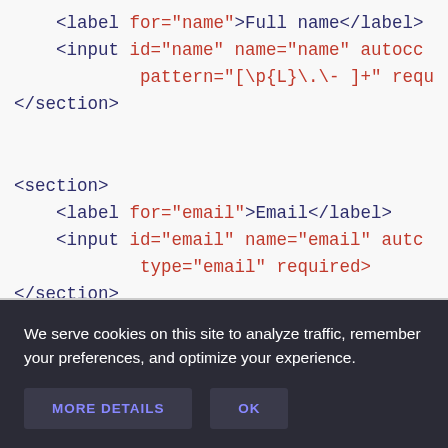<label for="name">Full name</label>
    <input id="name" name="name" autocc
            pattern="[\p{L}\.\- ]+" requ
</section>

<section>
    <label for="email">Email</label>
    <input id="email" name="email" autc
            type="email" required>
</section>
We serve cookies on this site to analyze traffic, remember your preferences, and optimize your experience.
MORE DETAILS
OK